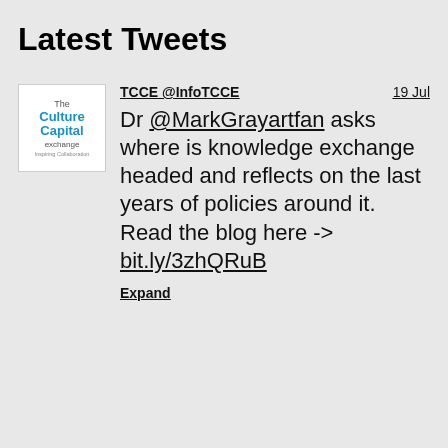Latest Tweets
[Figure (logo): The Culture Capital Exchange logo — text in blue reading 'The Culture Capital exchange' with tagline 'Inspiring Collaboration']
TCCE @InfoTCCE	19 Jul
Dr @MarkGrayartfan asks where is knowledge exchange headed and reflects on the last years of policies around it. Read the blog here -> bit.ly/3zhQRuB
Expand